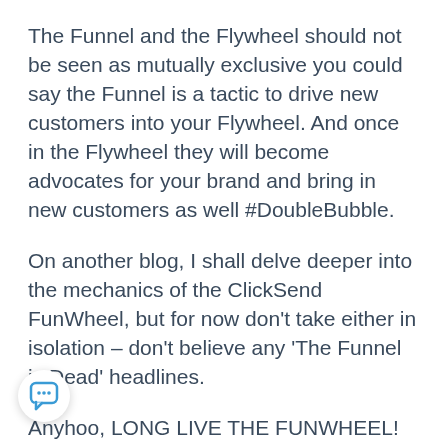The Funnel and the Flywheel should not be seen as mutually exclusive you could say the Funnel is a tactic to drive new customers into your Flywheel. And once in the Flywheel they will become advocates for your brand and bring in new customers as well #DoubleBubble.
On another blog, I shall delve deeper into the mechanics of the ClickSend FunWheel, but for now don't take either in isolation – don't believe any 'The Funnel is Dead' headlines.
Anyhoo, LONG LIVE THE FUNWHEEL!
If you'd like to know more about the ClickSend FunWheel right now, hit me up using the form below.